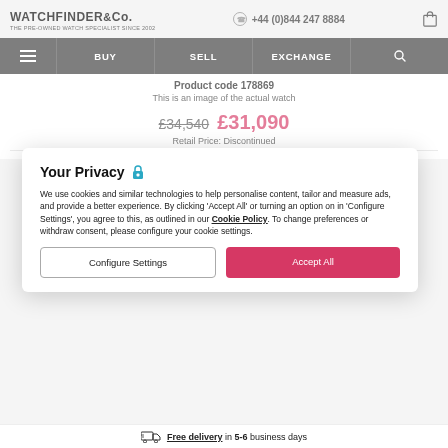WATCHFINDER&Co. THE PRE-OWNED WATCH SPECIALIST SINCE 2002 | +44 (0)844 247 8884
BUY | SELL | EXCHANGE
Product code 178869
This is an image of the actual watch
£34,540 £31,090
Retail Price: Discontinued
Your Privacy
We use cookies and similar technologies to help personalise content, tailor and measure ads, and provide a better experience. By clicking 'Accept All' or turning an option on in 'Configure Settings', you agree to this, as outlined in our Cookie Policy. To change preferences or withdraw consent, please configure your cookie settings.
Configure Settings
Accept All
Free delivery in 5-6 business days